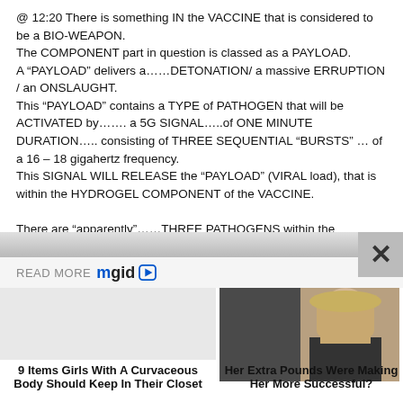@ 12:20 There is something IN the VACCINE that is considered to be a BIO-WEAPON. The COMPONENT part in question is classed as a PAYLOAD. A “PAYLOAD” delivers a……DETONATION/ a massive ERRUPTION / an ONSLAUGHT. This “PAYLOAD” contains a TYPE of PATHOGEN that will be ACTIVATED by……. a 5G SIGNAL…..of ONE MINUTE DURATION….. consisting of THREE SEQUENTIAL “BURSTS” … of a 16 – 18 gigahertz frequency. This SIGNAL WILL RELEASE the “PAYLOAD” (VIRAL load), that is within the HYDROGEL COMPONENT of the VACCINE. There are “apparently”……THREE PATHOGENS within the VACCINE. The MARBURG VIRUS is ONE………..the other TWO
[Figure (screenshot): READ MORE mgid logo with play button triangle]
[Figure (photo): Photo of a blonde woman in dark clothing]
9 Items Girls With A Curvaceous Body Should Keep In Their Closet
Her Extra Pounds Were Making Her More Successful?